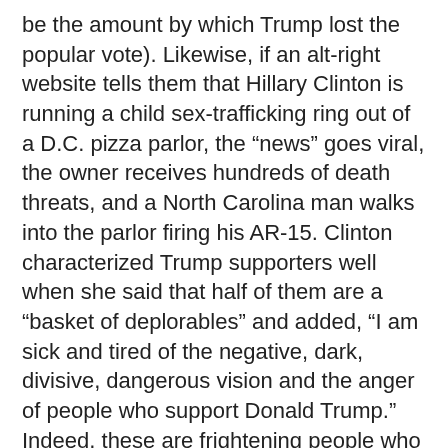be the amount by which Trump lost the popular vote). Likewise, if an alt-right website tells them that Hillary Clinton is running a child sex-trafficking ring out of a D.C. pizza parlor, the “news” goes viral, the owner receives hundreds of death threats, and a North Carolina man walks into the parlor firing his AR-15. Clinton characterized Trump supporters well when she said that half of them are a “basket of deplorables” and added, “I am sick and tired of the negative, dark, divisive, dangerous vision and the anger of people who support Donald Trump.” Indeed, these are frightening people who adore a mean-spirited psychopath who encourages their own meanness.
The only surprise about such people is that there are so many of them, it being not at all surprising that their numbers are greatest where the control of the Christian religion is greatest. When Trump bragged